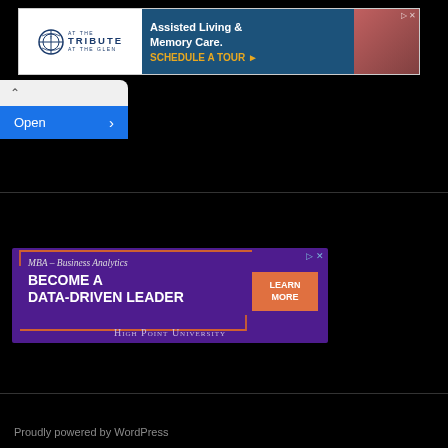[Figure (screenshot): Advertisement banner for Tribute at the Glen: Assisted Living & Memory Care. Schedule a Tour button on navy background with photo of elderly woman and dog.]
[Figure (screenshot): Browser download bar popup showing an 'Open' button with right chevron on blue background, with up-chevron at top.]
[Figure (screenshot): Advertisement for High Point University MBA in Business Analytics: 'Become a Data-Driven Leader' on purple background with orange Learn More button.]
Proudly powered by WordPress